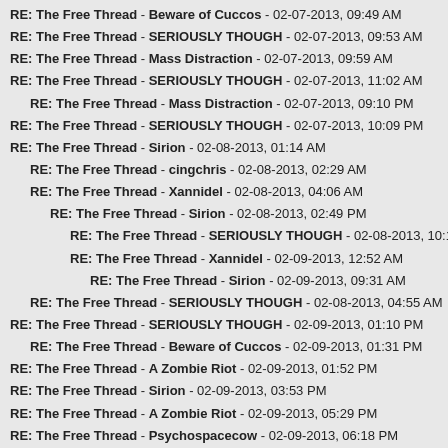RE: The Free Thread - Beware of Cuccos - 02-07-2013, 09:49 AM
RE: The Free Thread - SERIOUSLY THOUGH - 02-07-2013, 09:53 AM
RE: The Free Thread - Mass Distraction - 02-07-2013, 09:59 AM
RE: The Free Thread - SERIOUSLY THOUGH - 02-07-2013, 11:02 AM
RE: The Free Thread - Mass Distraction - 02-07-2013, 09:10 PM
RE: The Free Thread - SERIOUSLY THOUGH - 02-07-2013, 10:09 PM
RE: The Free Thread - Sirion - 02-08-2013, 01:14 AM
RE: The Free Thread - cingchris - 02-08-2013, 02:29 AM
RE: The Free Thread - Xannidel - 02-08-2013, 04:06 AM
RE: The Free Thread - Sirion - 02-08-2013, 02:49 PM
RE: The Free Thread - SERIOUSLY THOUGH - 02-08-2013, 10:16 PM
RE: The Free Thread - Xannidel - 02-09-2013, 12:52 AM
RE: The Free Thread - Sirion - 02-09-2013, 09:31 AM
RE: The Free Thread - SERIOUSLY THOUGH - 02-08-2013, 04:55 AM
RE: The Free Thread - SERIOUSLY THOUGH - 02-09-2013, 01:10 PM
RE: The Free Thread - Beware of Cuccos - 02-09-2013, 01:31 PM
RE: The Free Thread - A Zombie Riot - 02-09-2013, 01:52 PM
RE: The Free Thread - Sirion - 02-09-2013, 03:53 PM
RE: The Free Thread - A Zombie Riot - 02-09-2013, 05:29 PM
RE: The Free Thread - Psychospacecow - 02-09-2013, 06:18 PM
RE: The Free Thread - SERIOUSLY THOUGH - 02-09-2013, 10:30 PM
RE: The Free Thread - Mass Distraction - 02-09-2013, 11:54 PM
RE: The Free Thread - Beware of Cuccos - 02-10-2013, 02:14 AM
RE: The Free Thread - SERIOUSLY THOUGH - 02-10-2013, 02:20 AM
RE: The Free Thread - Psychospacecow - 02-10-2013, 06:09 AM